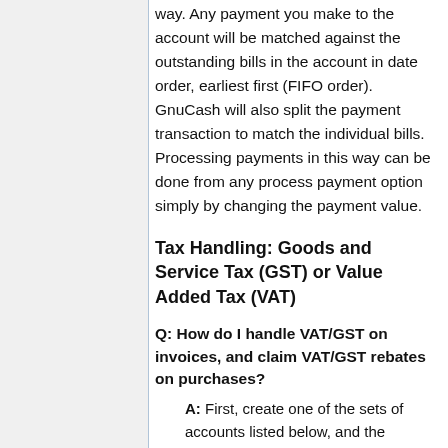way. Any payment you make to the account will be matched against the outstanding bills in the account in date order, earliest first (FIFO order). GnuCash will also split the payment transaction to match the individual bills. Processing payments in this way can be done from any process payment option simply by changing the payment value.
Tax Handling: Goods and Service Tax (GST) or Value Added Tax (VAT)
Q: How do I handle VAT/GST on invoices, and claim VAT/GST rebates on purchases?
A: First, create one of the sets of accounts listed below, and the associated Tax Table (see